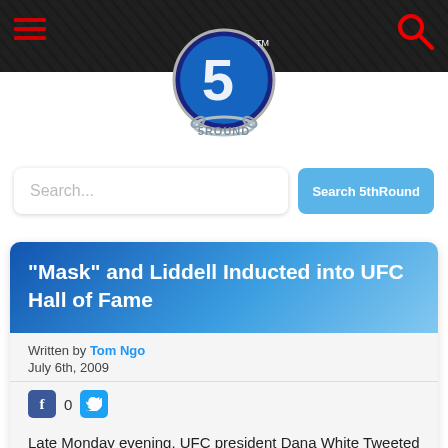[Figure (logo): 5th Round website logo - blue circle with number 5 and horseshoe chain design with '5ROUND' text]
5thRound website header with hamburger menu and search icon
Search...
Search 5thRound
"Mask" and Liddell Inducted into UFC Hall of Fame
Written by Tom Ngo
July 6th, 2009
0
Late Monday evening, UFC president Dana White Tweeted that former UFC light heavyweight